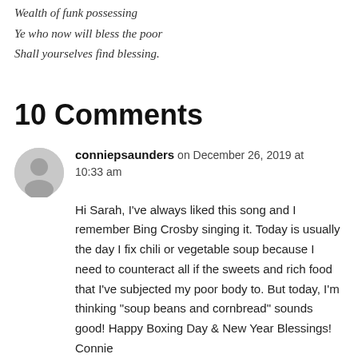Wealth of funk possessing
Ye who now will bless the poor
Shall yourselves find blessing.
10 Comments
conniepsaunders on December 26, 2019 at 10:33 am
Hi Sarah, I've always liked this song and I remember Bing Crosby singing it. Today is usually the day I fix chili or vegetable soup because I need to counteract all if the sweets and rich food that I've subjected my poor body to. But today, I'm thinking “soup beans and cornbread” sounds good! Happy Boxing Day & New Year Blessings!
Connie